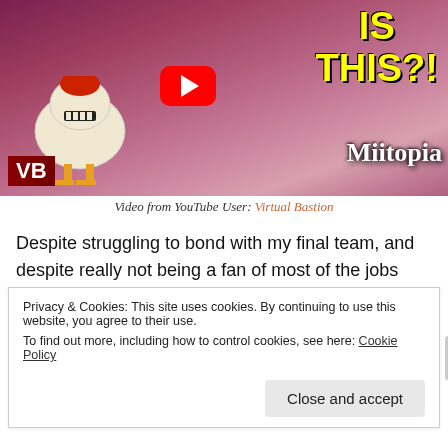[Figure (screenshot): YouTube video thumbnail showing a Miitopia game scene with a chicken-like creature, YouTube play button overlay, 'IS THIS?!' text in yellow, and 'Miitopia' branding. VB badge in bottom-left corner.]
Video from YouTube User: Virtual Bastion
Despite struggling to bond with my final team, and despite really not being a fan of most of the jobs remaining after team two was kidnapped (I still haven't used tank, and I never plan to), Miitopia has still made for a surprisingly
Privacy & Cookies: This site uses cookies. By continuing to use this website, you agree to their use.
To find out more, including how to control cookies, see here: Cookie Policy
[Close and accept]